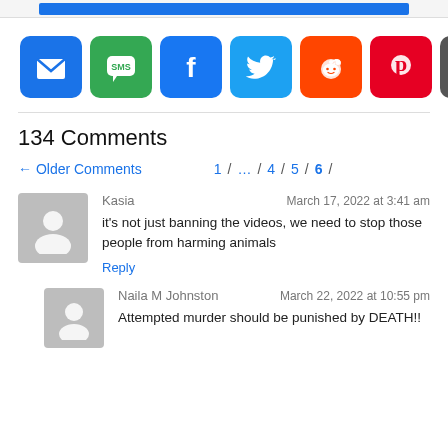[Figure (infographic): Social sharing buttons row: Email, SMS, Facebook, Twitter, Reddit, Pinterest, More (+)]
134 Comments
← Older Comments   1 / … / 4 / 5 / 6 /
Kasia   March 17, 2022 at 3:41 am
it's not just banning the videos, we need to stop those people from harming animals
Reply
Naila M Johnston   March 22, 2022 at 10:55 pm
Attempted murder should be punished by DEATH!!